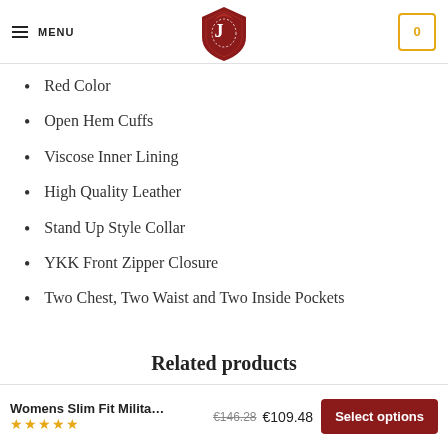MENU | Logo | Cart (0)
Red Color
Open Hem Cuffs
Viscose Inner Lining
High Quality Leather
Stand Up Style Collar
YKK Front Zipper Closure
Two Chest, Two Waist and Two Inside Pockets
Related products
Womens Slim Fit Milita… ★★★★★ €146.28 €109.48 Select options